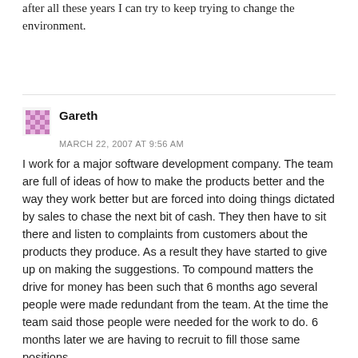after all these years I can try to keep trying to change the environment.
Gareth
MARCH 22, 2007 AT 9:56 AM
I work for a major software development company. The team are full of ideas of how to make the products better and the way they work better but are forced into doing things dictated by sales to chase the next bit of cash. They then have to sit there and listen to complaints from customers about the products they produce. As a result they have started to give up on making the suggestions. To compound matters the drive for money has been such that 6 months ago several people were made redundant from the team. At the time the team said those people were needed for the work to do. 6 months later we are having to recruit to fill those same positions.